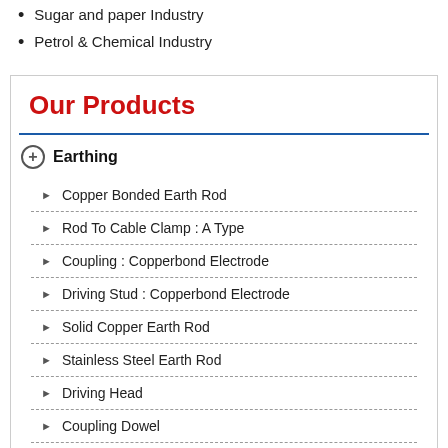Sugar and paper Industry
Petrol & Chemical Industry
Our Products
Earthing
Copper Bonded Earth Rod
Rod To Cable Clamp : A Type
Coupling : Copperbond Electrode
Driving Stud : Copperbond Electrode
Solid Copper Earth Rod
Stainless Steel Earth Rod
Driving Head
Coupling Dowel
Driving Spike